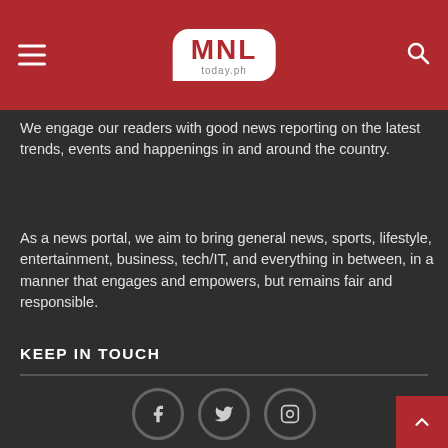MNL Today.ph
We engage our readers with good news reporting on the latest trends, events and happenings in and around the country.
As a news portal, we aim to bring general news, sports, lifestyle, entertainment, business, tech/IT, and everything in between, in a manner that engages and empowers, but remains fair and responsible.
MNLToday.ph YOUR SOURCE OF GOOD NEWS EVERY DAY.
KEEP IN TOUCH
[Figure (illustration): Social media icons: Facebook, Twitter, Instagram circles at bottom of page]